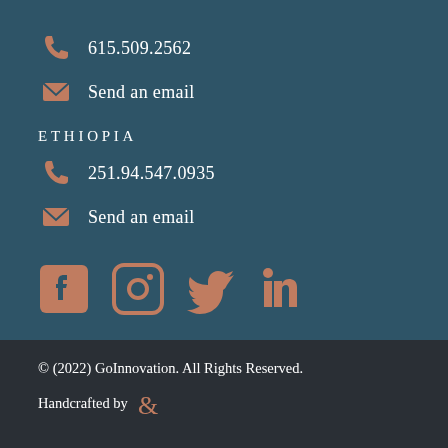615.509.2562
Send an email
ETHIOPIA
251.94.547.0935
Send an email
[Figure (illustration): Social media icons: Facebook, Instagram, Twitter, LinkedIn]
© (2022) GoInnovation. All Rights Reserved.
Handcrafted by &